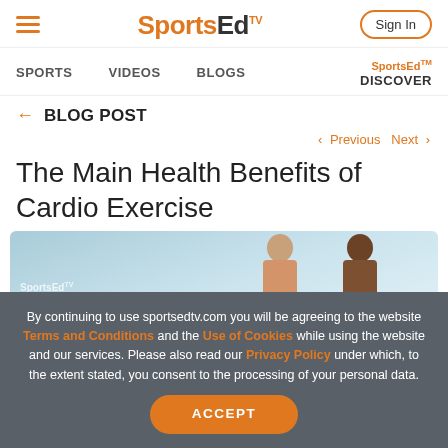SportsEdTV — Sign In
SPORTS   VIDEOS   BLOGS   SportsEdTV DISCOVER
← BLOG POST
< Previous   Next >
The Main Health Benefits of Cardio Exercise
[Figure (photo): Two women smiling with SportsEdTV logo overlay on a light blue gradient background]
By continuing to use sportsedtv.com you will be agreeing to the website Terms and Conditions and the Use of Cookies while using the website and our services. Please also read our Privacy Policy under which, to the extent stated, you consent to the processing of your personal data.